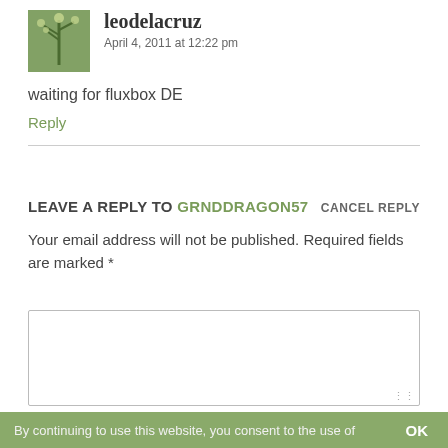[Figure (photo): Avatar image of leodelacruz, showing a plant/cactus photo]
leodelacruz
April 4, 2011 at 12:22 pm
waiting for fluxbox DE
Reply
LEAVE A REPLY TO GRNDDRAGON57
CANCEL REPLY
Your email address will not be published. Required fields are marked *
By continuing to use this website, you consent to the use of
OK